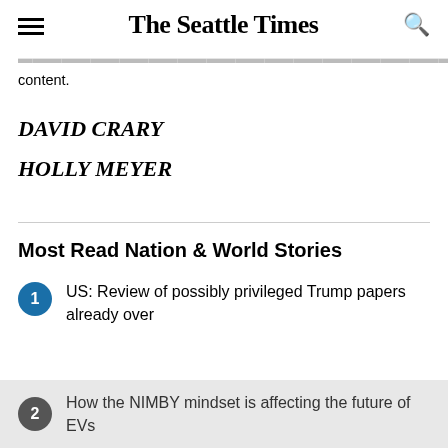The Seattle Times
content.
DAVID CRARY
HOLLY MEYER
Most Read Nation & World Stories
1 US: Review of possibly privileged Trump papers already over
2 How the NIMBY mindset is affecting the future of EVs